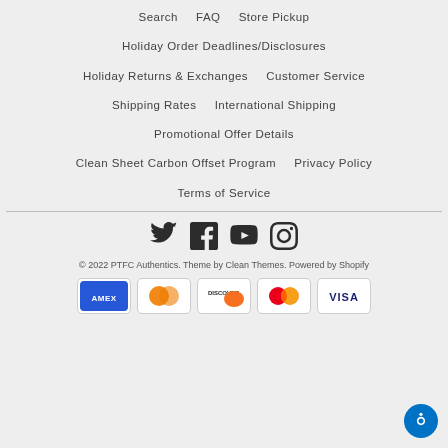Search   FAQ   Store Pickup
Holiday Order Deadlines/Disclosures
Holiday Returns & Exchanges   Customer Service
Shipping Rates   International Shipping
Promotional Offer Details
Clean Sheet Carbon Offset Program   Privacy Policy
Terms of Service
[Figure (infographic): Social media icons: Twitter, Facebook, YouTube, Instagram]
© 2022 PTFC Authentics. Theme by Clean Themes. Powered by Shopify
[Figure (infographic): Payment method icons: American Express, Diners Club, Discover, Mastercard, Visa]